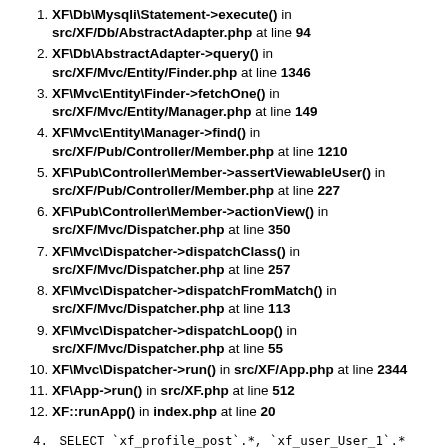XF\Db\Mysqli\Statement->execute() in src/XF/Db/AbstractAdapter.php at line 94
XF\Db\AbstractAdapter->query() in src/XF/Mvc/Entity/Finder.php at line 1346
XF\Mvc\Entity\Finder->fetchOne() in src/XF/Mvc/Entity/Manager.php at line 149
XF\Mvc\Entity\Manager->find() in src/XF/Pub/Controller/Member.php at line 1210
XF\Pub\Controller\Member->assertViewableUser() in src/XF/Pub/Controller/Member.php at line 227
XF\Pub\Controller\Member->actionView() in src/XF/Mvc/Dispatcher.php at line 350
XF\Mvc\Dispatcher->dispatchClass() in src/XF/Mvc/Dispatcher.php at line 257
XF\Mvc\Dispatcher->dispatchFromMatch() in src/XF/Mvc/Dispatcher.php at line 113
XF\Mvc\Dispatcher->dispatchLoop() in src/XF/Mvc/Dispatcher.php at line 55
XF\Mvc\Dispatcher->run() in src/XF/App.php at line 2344
XF\App->run() in src/XF.php at line 512
XF::runApp() in index.php at line 20
4. SELECT `xf_profile_post`.*, `xf_user_User_1`.* FROM `xf_profile_post` LEFT JOIN `xf_user` AS `xf_user_User_1` ON (`xf_use